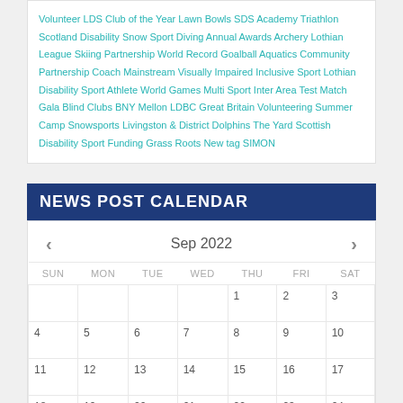Volunteer LDS Club of the Year Lawn Bowls SDS Academy Triathlon Scotland Disability Snow Sport Diving Annual Awards Archery Lothian League Skiing Partnership World Record Goalball Aquatics Community Partnership Coach Mainstream Visually Impaired Inclusive Sport Lothian Disability Sport Athlete World Games Multi Sport Inter Area Test Match Gala Blind Clubs BNY Mellon LDBC Great Britain Volunteering Summer Camp Snowsports Livingston & District Dolphins The Yard Scottish Disability Sport Funding Grass Roots New tag SIMON
NEWS POST CALENDAR
[Figure (other): September 2022 calendar widget with navigation arrows, day headers SUN MON TUE WED THU FRI SAT, and dates 1-24 visible]